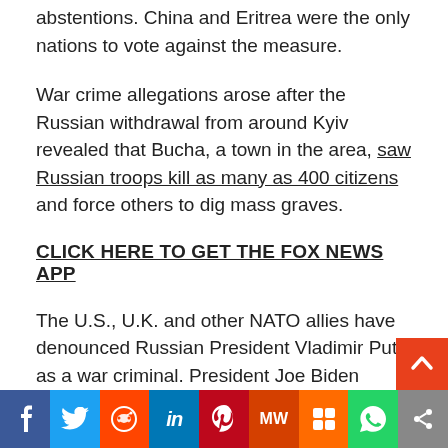abstentions. China and Eritrea were the only nations to vote against the measure.
War crime allegations arose after the Russian withdrawal from around Kyiv revealed that Bucha, a town in the area, saw Russian troops kill as many as 400 citizens and force others to dig mass graves.
CLICK HERE TO GET THE FOX NEWS APP
The U.S., U.K. and other NATO allies have denounced Russian President Vladimir Putin as a war criminal. President Joe Biden called for Putin to face a war crime trial in early April.
“This guy is brutal. What is happening in Bucha